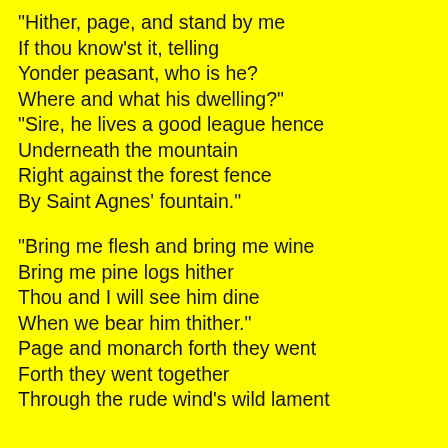"Hither, page, and stand by me
If thou know'st it, telling
Yonder peasant, who is he?
Where and what his dwelling?"
"Sire, he lives a good league hence
Underneath the mountain
Right against the forest fence
By Saint Agnes' fountain."

"Bring me flesh and bring me wine
Bring me pine logs hither
Thou and I will see him dine
When we bear him thither."
Page and monarch forth they went
Forth they went together
Through the rude wind's wild lament